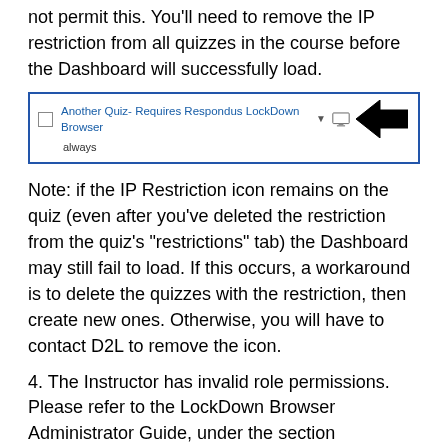not permit this. You'll need to remove the IP restriction from all quizzes in the course before the Dashboard will successfully load.
[Figure (screenshot): Screenshot of quiz interface showing 'Another Quiz- Requires Respondus LockDown Browser' with a dropdown arrow, monitor icon, and a large left-pointing arrow highlighting the monitor icon. Below the quiz name it shows 'always'.]
Note: if the IP Restriction icon remains on the quiz (even after you've deleted the restriction from the quiz's "restrictions" tab) the Dashboard may still fail to load. If this occurs, a workaround is to delete the quizzes with the restriction, then create new ones. Otherwise, you will have to contact D2L to remove the icon.
4. The Instructor has invalid role permissions. Please refer to the LockDown Browser Administrator Guide, under the section "Instructor Roles and Permissions for IMS Configuration."